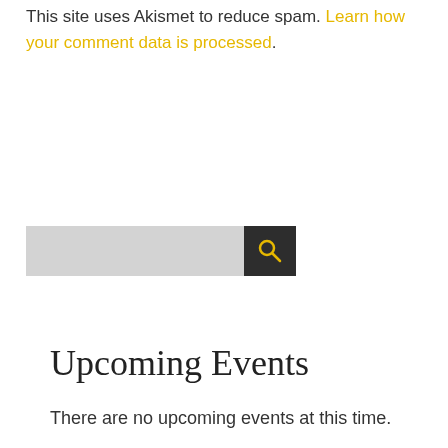This site uses Akismet to reduce spam. Learn how your comment data is processed.
[Figure (other): Search bar with light gray input field and dark square button containing a yellow magnifying glass icon]
Upcoming Events
There are no upcoming events at this time.